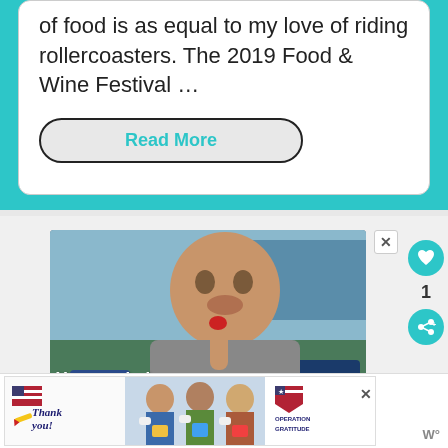of food is as equal to my love of riding rollercoasters. The 2019 Food & Wine Festival …
Read More
[Figure (photo): Advertisement photo of a young boy touching his mouth with text overlay 'You can help hungry kids.']
[Figure (photo): Banner advertisement for Operation Gratitude showing 'Thank you!' text, people with masks holding boxes, and Operation Gratitude logo]